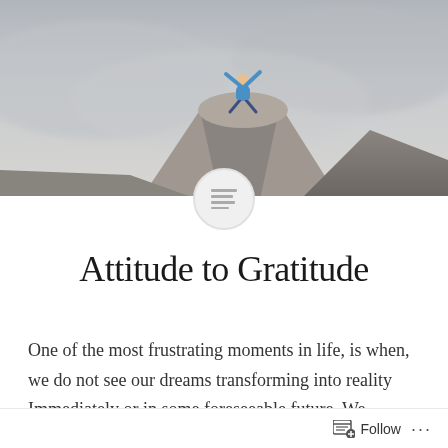[Figure (photo): A person in a blue jacket sitting on top of a rocky mountain peak with arms raised, surrounded by misty clouds and grey sky.]
Attitude to Gratitude
One of the most frustrating moments in life, is when, we do not see our dreams transforming into reality Immediately or in some foreseeable future. We become discouraged before we have a moment of
Follow ...